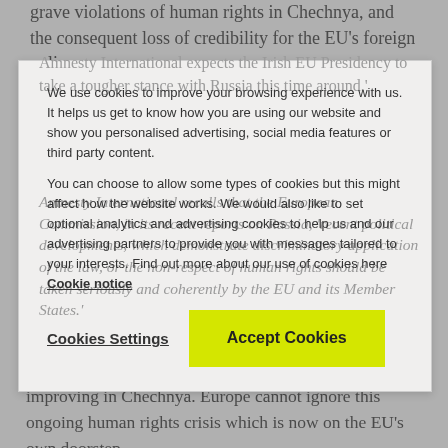grave violations of human rights in Chechnya, and the consequent loss of credibility for the EU's foreign policy.
Amnesty International expects the Irish EU Presidency to take a tougher stance with Russia this time around.'
Amnesty International recalls that the European Commission, in its recent reports on Russia, 'recent political developments, which demonstrate discriminatory application of the law, or the non-respect of human rights should be taken seriously and coherently by the EU and its Member States.'
Dick Oosting said.'
We use cookies to improve your browsing experience with us. It helps us get to know how you are using our website and show you personalised advertising, social media features or third party content. You can choose to allow some types of cookies but this might affect how the website works. We would also like to set optional analytics and advertising cookies to help us and our advertising partners to provide you with messages tailored to your interests. Find out more about our use of cookies here Cookie notice
'We hope that this time, the Irish foreign minister will not be satisfied with empty assurances that things are improving in Chechnya. Europe cannot ignore this ongoing human rights crisis which is now on the EU's own doorstep.
'We are also calling on the EU to take a stronger collective stand on Chechnya when the new session of the United